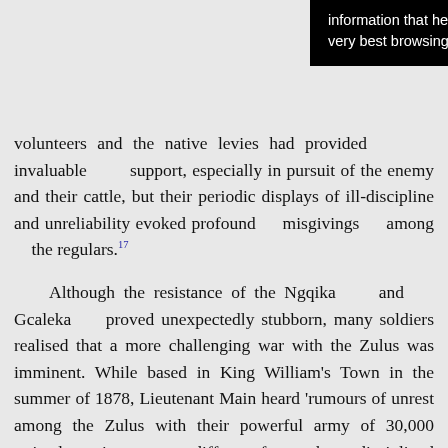[Figure (screenshot): Cookie consent banner overlay with black background and white text reading 'information that help give you the very best browsing experience.']
volunteers and the native levies had provided invaluable support, especially in pursuit of the enemy and their cattle, but their periodic displays of ill-discipline and unreliability evoked profound misgivings among the regulars.17
Although the resistance of the Ngqika and Gcaleka proved unexpectedly stubborn, many soldiers realised that a more challenging war with the Zulus was imminent. While based in King William's Town in the summer of 1878, Lieutenant Main heard 'rumours of unrest among the Zulus with their powerful army of 30,000 trained warriors, a very different foe to the undisciplined Kafirs'.18 British units were ordered